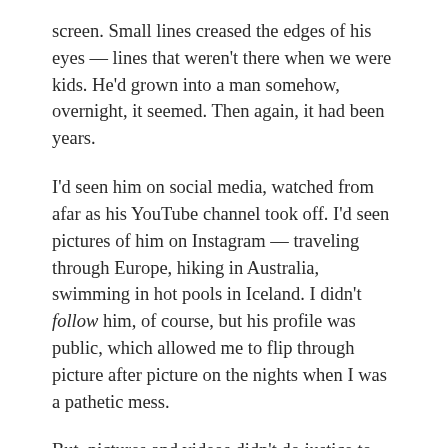screen. Small lines creased the edges of his eyes — lines that weren't there when we were kids. He'd grown into a man somehow, overnight, it seemed. Then again, it had been years.
I'd seen him on social media, watched from afar as his YouTube channel took off. I'd seen pictures of him on Instagram — traveling through Europe, hiking in Australia, swimming in hot pools in Iceland. I didn't follow him, of course, but his profile was public, which allowed me to flip through picture after picture on the nights when I was a pathetic mess.
But, pictures and videos didn't do justice to the actual man who sat studiously at that kitchen island.
He was something between the boy I used to love and the man I'd never know, familiar and unreachable all